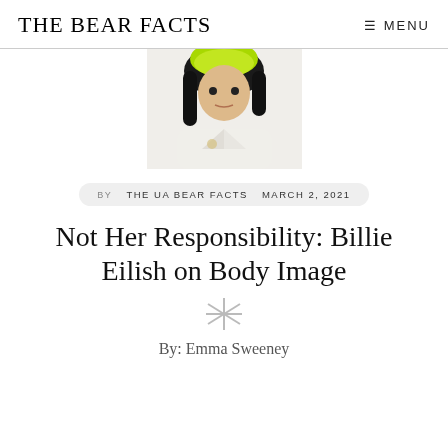THE BEAR FACTS   ≡ MENU
[Figure (photo): Photo of Billie Eilish with green and black hair wearing a white jacket]
BY THE UA BEAR FACTS   MARCH 2, 2021
Not Her Responsibility: Billie Eilish on Body Image
By: Emma Sweeney